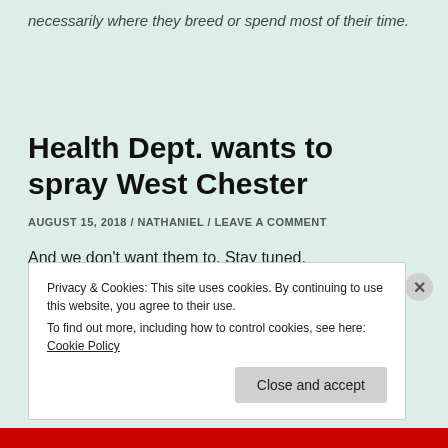necessarily where they breed or spend most of their time.
Health Dept. wants to spray West Chester
AUGUST 15, 2018 / NATHANIEL / LEAVE A COMMENT
And we don't want them to. Stay tuned.
Privacy & Cookies: This site uses cookies. By continuing to use this website, you agree to their use.
To find out more, including how to control cookies, see here: Cookie Policy
Close and accept